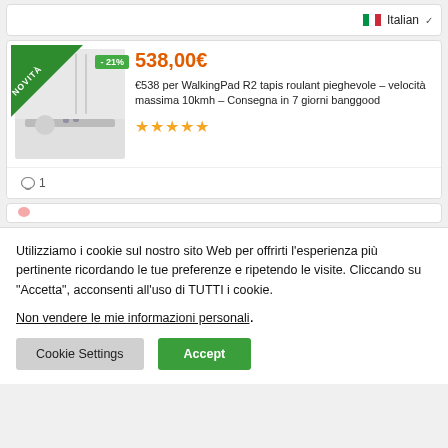Italian
[Figure (screenshot): Product card showing WalkingPad R2 foldable treadmill with NOVITÀ ribbon, -21% discount badge, product image of person jogging on treadmill indoors]
538,00€
€538 per WalkingPad R2 tapis roulant pieghevole – velocità massima 10kmh – Consegna in 7 giorni banggood
★★★★★
◯ 1
Utilizziamo i cookie sul nostro sito Web per offrirti l'esperienza più pertinente ricordando le tue preferenze e ripetendo le visite. Cliccando su "Accetta", acconsenti all'uso di TUTTI i cookie.
Non vendere le mie informazioni personali.
Cookie Settings
Accept